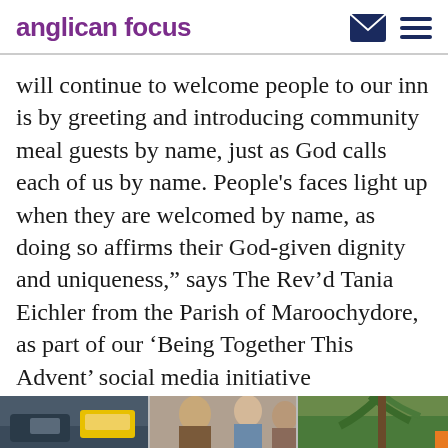anglican focus
will continue to welcome people to our inn is by greeting and introducing community meal guests by name, just as God calls each of us by name. People’s faces light up when they are welcomed by name, as doing so affirms their God-given dignity and uniqueness,” says The Rev’d Tania Eichler from the Parish of Maroochydore, as part of our ‘Being Together This Advent’ social media initiative
The Rev’d Tania Eichler
[Figure (photo): Photo strip at the bottom of the page showing partial outdoor scenes]